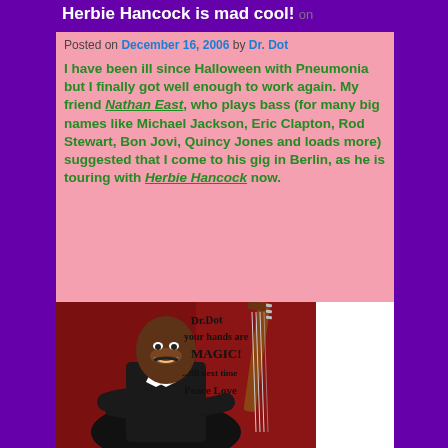Herbie Hancock is mad cool! on
Posted on December 16, 2006 by Dr. Dot
I have been ill since Halloween with Pneumonia but I finally got well enough to work again. My friend Nathan East, who plays bass (for many big names like Michael Jackson, Eric Clapton, Rod Stewart, Bon Jovi, Quincy Jones and loads more) suggested that I come to his gig in Berlin, as he is touring with Herbie Hancock now.
[Figure (photo): Photo of a smiling Black man in a suit with arms crossed, with a handwritten autograph reading 'Dr. Dot your hands are MAGIC! ...till next time Peace Love' and a bass guitar visible in the background]